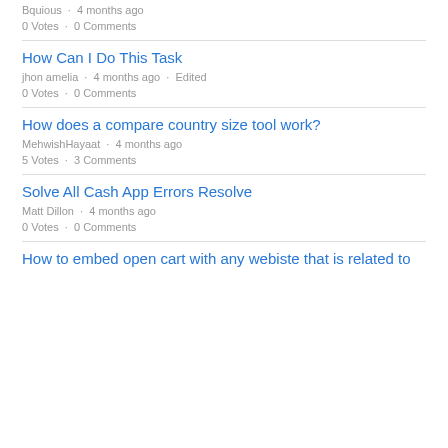Bquious · 4 months ago
0 Votes · 0 Comments
How Can I Do This Task
jhon amelia · 4 months ago · Edited
0 Votes · 0 Comments
How does a compare country size tool work?
MehwishHayaat · 4 months ago
5 Votes · 3 Comments
Solve All Cash App Errors Resolve
Matt Dillon · 4 months ago
0 Votes · 0 Comments
How to embed open cart with any webiste that is related to